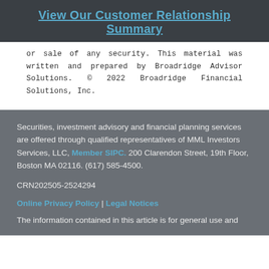View Our Customer Relationship Summary
or sale of any security. This material was written and prepared by Broadridge Advisor Solutions. © 2022 Broadridge Financial Solutions, Inc.
Securities, investment advisory and financial planning services are offered through qualified representatives of MML Investors Services, LLC, Member SIPC. 200 Clarendon Street, 19th Floor, Boston MA 02116. (617) 585-4500.
CRN202505-2524294
Online Privacy Policy | Legal Notices
The information contained in this article is for general use and...